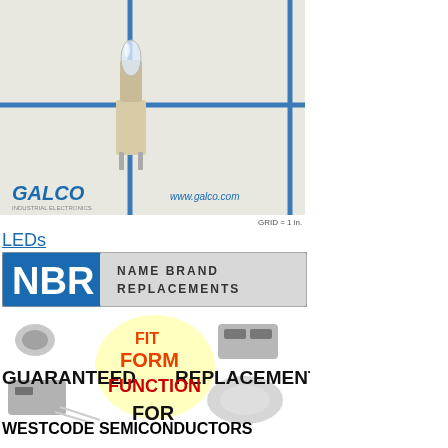[Figure (photo): Product photo of a small LED/lamp bulb component with a wedge base, photographed against a white background with blue grid lines. Galco Industrial Electronics logo and www.galco.com URL visible in the photo corners.]
GRID = 1 in.
LEDs
[Figure (logo): NBR Name Brand Replacements logo banner — blue rectangle with white 'NBR' text on left, gray rectangle with 'NAME BRAND REPLACEMENTS' text on right.]
[Figure (infographic): Guaranteed Fit Form Function Replacement banner with images of various electronic components around text. 'GUARANTEED' and 'REPLACEMENT' in bold black, 'FIT', 'FORM', 'FUNCTION' in red/orange, 'FOR' in bold black.]
WESTCODE SEMICONDUCTORS